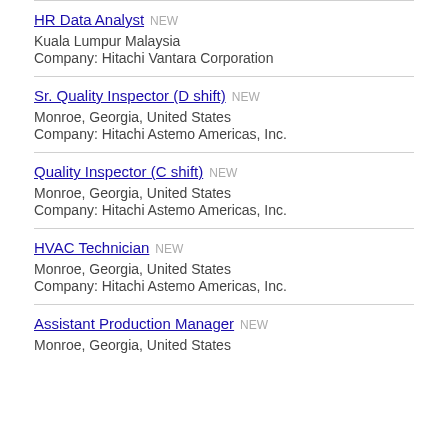HR Data Analyst NEW
Kuala Lumpur Malaysia
Company: Hitachi Vantara Corporation
Sr. Quality Inspector (D shift) NEW
Monroe, Georgia, United States
Company: Hitachi Astemo Americas, Inc.
Quality Inspector (C shift) NEW
Monroe, Georgia, United States
Company: Hitachi Astemo Americas, Inc.
HVAC Technician NEW
Monroe, Georgia, United States
Company: Hitachi Astemo Americas, Inc.
Assistant Production Manager NEW
Monroe, Georgia, United States